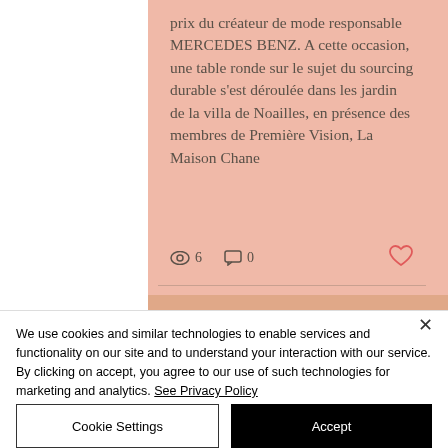prix du créateur de mode responsable MERCEDES BENZ. A cette occasion, une table ronde sur le sujet du sourcing durable s'est déroulée dans les jardin de la villa de Noailles, en présence des membres de Première Vision, La Maison Chane
[Figure (other): Social media post interaction icons: eye/views icon with count 6, comment icon with count 0, heart/like icon]
[Figure (photo): Partially visible bottom strip of an image below the social post card]
We use cookies and similar technologies to enable services and functionality on our site and to understand your interaction with our service. By clicking on accept, you agree to our use of such technologies for marketing and analytics. See Privacy Policy
Cookie Settings
Accept